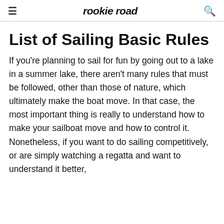rookie road
List of Sailing Basic Rules
If you're planning to sail for fun by going out to a lake in a summer lake, there aren't many rules that must be followed, other than those of nature, which ultimately make the boat move. In that case, the most important thing is really to understand how to make your sailboat move and how to control it. Nonetheless, if you want to do sailing competitively, or are simply watching a regatta and want to understand it better,